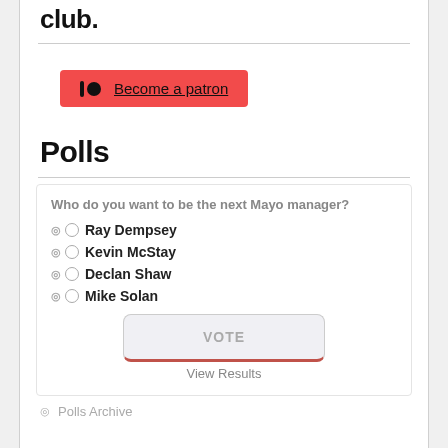club.
[Figure (other): Patreon button with logo icon and 'Become a patron' text on red background]
Polls
Who do you want to be the next Mayo manager?
Ray Dempsey
Kevin McStay
Declan Shaw
Mike Solan
VOTE
View Results
Polls Archive